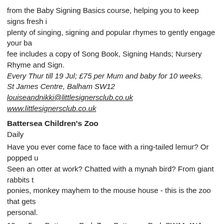from the Baby Signing Basics course, helping you to keep signs fresh in plenty of singing, signing and popular rhymes to gently engage your ba fee includes a copy of Song Book, Signing Hands; Nursery Rhyme and Sign.
Every Thur till 19 Jul; £75 per Mum and baby for 10 weeks.
St James Centre, Balham SW12
louiseandnikki@littlesignersclub.co.uk
www.littlesignersclub.co.uk
Battersea Children's Zoo
Daily
Have you ever come face to face with a ring-tailed lemur? Or popped u Seen an otter at work? Chatted with a mynah bird? From giant rabbits t ponies, monkey mayhem to the mouse house - this is the zoo that gets personal.
10am-5pm.Battersea Park Zoo, Battersea Park SW11 4NJ
020 7924 5826
www.batterseaparkzoo.co.uk
Battersea Arts Centre, Lavender Hill, SW11 5TN